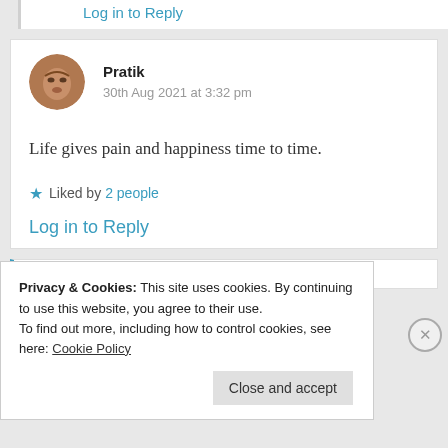Log in to Reply
Pratik
30th Aug 2021 at 3:32 pm
Life gives pain and happiness time to time.
Liked by 2 people
Log in to Reply
Privacy & Cookies: This site uses cookies. By continuing to use this website, you agree to their use.
To find out more, including how to control cookies, see here: Cookie Policy
Close and accept